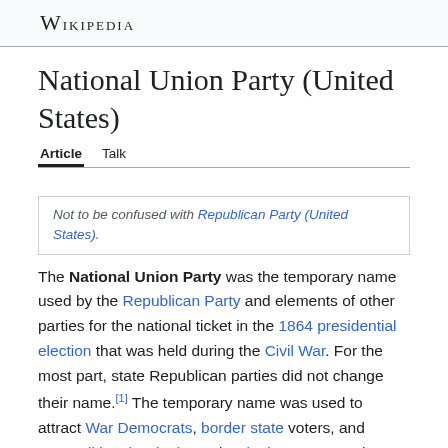Wikipedia
National Union Party (United States)
Article  Talk
Not to be confused with Republican Party (United States).
The National Union Party was the temporary name used by the Republican Party and elements of other parties for the national ticket in the 1864 presidential election that was held during the Civil War. For the most part, state Republican parties did not change their name.[1] The temporary name was used to attract War Democrats, border state voters, and Unconditional Unionist and Unionist Party members who might otherwise have not